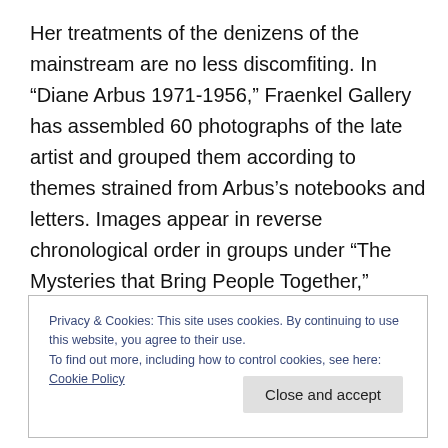Her treatments of the denizens of the mainstream are no less discomfiting. In “Diane Arbus 1971-1956,” Fraenkel Gallery has assembled 60 photographs of the late artist and grouped them according to themes strained from Arbus’s notebooks and letters. Images appear in reverse chronological order in groups under “The Mysteries that Bring People Together,” “Interiors: The Meanings of Rooms,” “People Being Somebody,” “Recognition,” and “Winners and Losers,” headings chosen and curated by Jeffrey Fraenkel.
Privacy & Cookies: This site uses cookies. By continuing to use this website, you agree to their use.
To find out more, including how to control cookies, see here: Cookie Policy